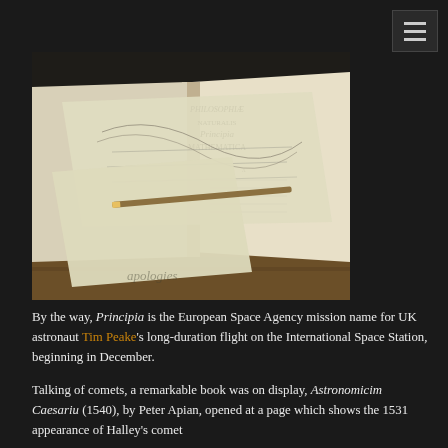[Figure (photo): An open book (Newton's Principia Mathematica) on a dark wooden surface with loose folded papers or documents lying on top of it. The book title page is partially visible showing 'PHILOSOPHIÆ NATURALIS PRINCIPIA MATHEMATICA'.]
By the way, Principia is the European Space Agency mission name for UK astronaut Tim Peake's long-duration flight on the International Space Station, beginning in December.
Talking of comets, a remarkable book was on display, Astronomicim Caesariu (1540), by Peter Apian, opened at a page which shows the 1531 appearance of Halley's comet